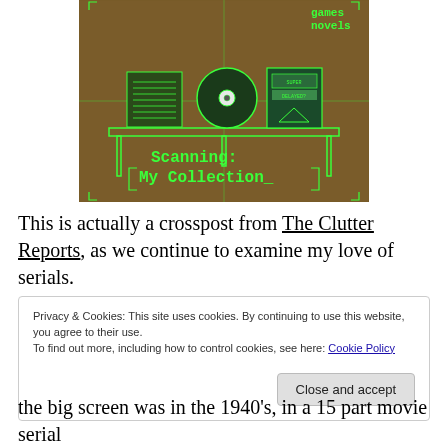[Figure (illustration): Green pixelated/retro-style illustration on brown textured background showing a shelf with books, a CD, and items. Text reads 'games novels' at top right and 'Scanning: My Collection_' at the bottom.]
This is actually a crosspost from The Clutter Reports, as we continue to examine my love of serials.
Privacy & Cookies: This site uses cookies. By continuing to use this website, you agree to their use.
To find out more, including how to control cookies, see here: Cookie Policy
Close and accept
the big screen was in the 1940's, in a 15 part movie serial